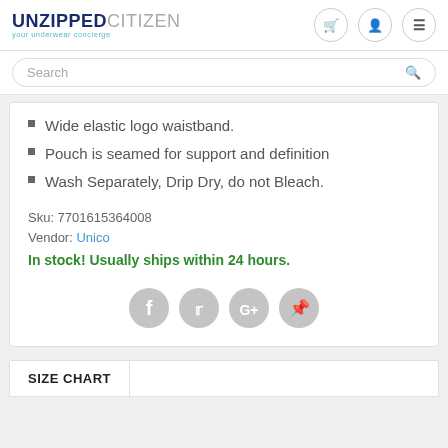UNZIPPED CITIZEN — your underwear concierge
Wide elastic logo waistband.
Pouch is seamed for support and definition
Wash Separately, Drip Dry, do not Bleach.
Sku: 7701615364008
Vendor: Unico
In stock! Usually ships within 24 hours.
[Figure (other): Social sharing icons: Facebook, Twitter, Google+, Pinterest]
SIZE CHART